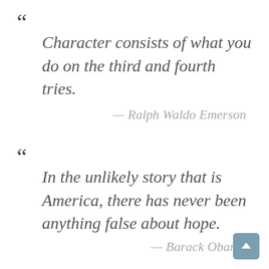“Character consists of what you do on the third and fourth tries.
— Ralph Waldo Emerson
“In the unlikely story that is America, there has never been anything false about hope.
— Barack Obama